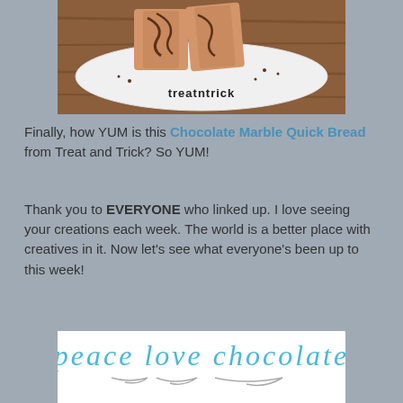[Figure (photo): Photo of chocolate marble quick bread slices on a white plate on a wooden surface, with 'treatntrick' watermark text]
Finally, how YUM is this Chocolate Marble Quick Bread from Treat and Trick? So YUM!
Thank you to EVERYONE who linked up. I love seeing your creations each week. The world is a better place with creatives in it. Now let's see what everyone's been up to this week!
[Figure (photo): White image with cursive blue text reading 'peace love chocolate']